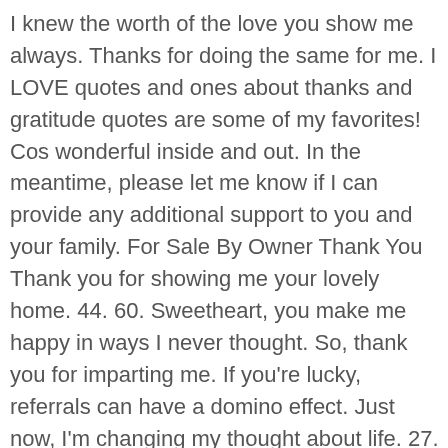I knew the worth of the love you show me always. Thanks for doing the same for me. I LOVE quotes and ones about thanks and gratitude quotes are some of my favorites! Cos wonderful inside and out. In the meantime, please let me know if I can provide any additional support to you and your family. For Sale By Owner Thank You Thank you for showing me your lovely home. 44. 60. Sweetheart, you make me happy in ways I never thought. So, thank you for imparting me. If you're lucky, referrals can have a domino effect. Just now, I'm changing my thought about life. 27. It opens one's eyes but makes one blind. Thank you very much, Mum. We have overcome so much pain together, and we deserve to be happy together. The value of sunrise is known only to people, who were once in the darkness. I feel so special to have been loved this way. Your deeds of love are countless. Thank you for meeting with me. But your coming was the end of it all! Thanks, bro. But, there's something I've come to appreciate in you, and that is your selfless self. If I have hope for the morrow, you are the reason. But God has ways of